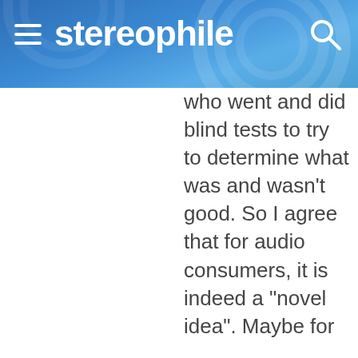stereophile
who went and did blind tests to try to determine what was and wasn't good. So I agree that for audio consumers, it is indeed a "novel idea". Maybe for